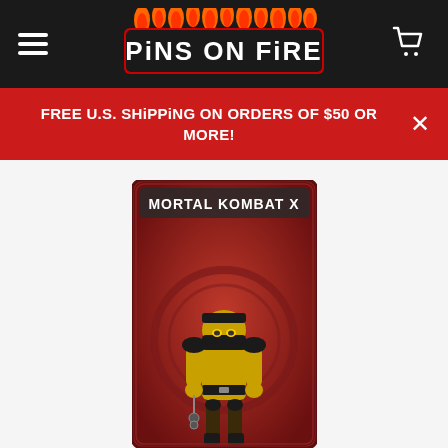[Figure (logo): Pins on Fire logo with flame lettering on dark header background]
FREE U.S. SHiPPiNG ON ORDERS OF $50 OR MORE!
[Figure (illustration): Mortal Kombat X trading card/pin featuring Scorpion character in yellow and black ninja outfit with chain weapon, on a red background with the MK dragon logo. Card reads MORTAL KOMBAT X at the top.]